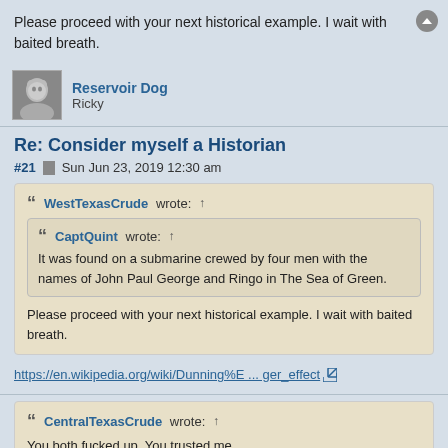Please proceed with your next historical example. I wait with baited breath.
Reservoir Dog
Ricky
Re: Consider myself a Historian
#21  Sun Jun 23, 2019 12:30 am
WestTexasCrude wrote: ↑
CaptQuint wrote: ↑
It was found on a submarine crewed by four men with the names of John Paul George and Ringo in The Sea of Green.
Please proceed with your next historical example. I wait with baited breath.
https://en.wikipedia.org/wiki/Dunning%E ... ger_effect
CentralTexasCrude wrote: ↑
You both fucked up. You trusted me.